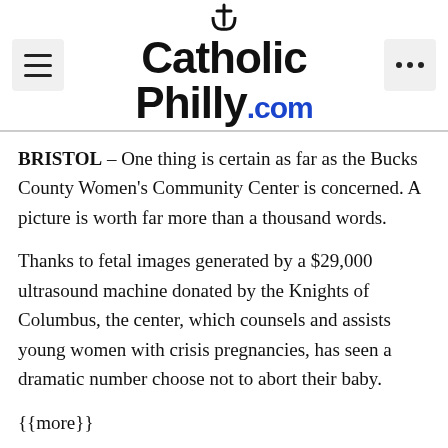CatholicPhilly.com
BRISTOL – One thing is certain as far as the Bucks County Women's Community Center is concerned. A picture is worth far more than a thousand words.
Thanks to fetal images generated by a $29,000 ultrasound machine donated by the Knights of Columbus, the center, which counsels and assists young women with crisis pregnancies, has seen a dramatic number choose not to abort their baby.
{{more}}
“We have served about 800 women since January,” said Marie Joseph, director of the center, which is located on Veterans Highway in Bristol. “Because we are directly across from